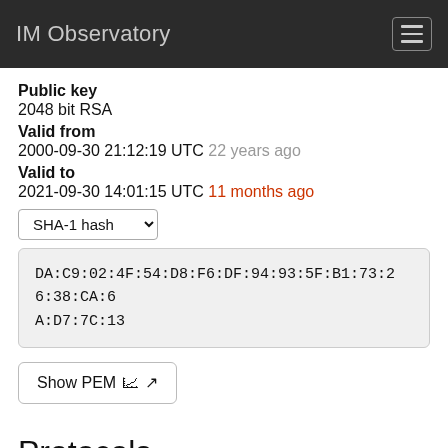IM Observatory
Public key
2048 bit RSA
Valid from
2000-09-30 21:12:19 UTC 22 years ago
Valid to
2021-09-30 14:01:15 UTC 11 months ago
SHA-1 hash (dropdown)
DA:C9:02:4F:54:D8:F6:DF:94:93:5F:B1:73:26:38:CA:6A:D7:7C:13
Show PEM
Protocols
| Protocol | Status |
| --- | --- |
| SSLv2 | No |
| SSLv3 |  |